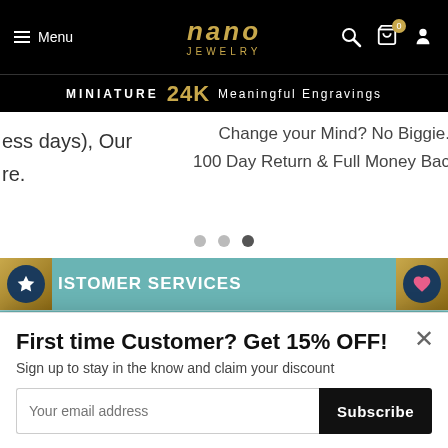Menu | nano JEWELRY | (cart 0) (search) (account)
MINIATURE 24K Meaningful Engravings
ess days), Our
re.
Change your Mind? No Biggie. 100 Day Return & Full Money Bac
CUSTOMER SERVICES
ABOUT US
First time Customer? Get 15% OFF!
Sign up to stay in the know and claim your discount
Your email address
Subscribe
Share with your friends